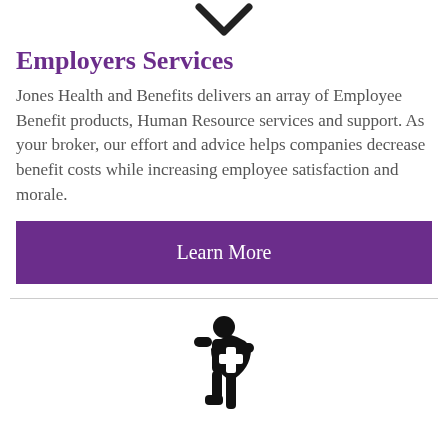[Figure (illustration): Downward chevron / arrow icon in dark color at top center of page]
Employers Services
Jones Health and Benefits delivers an array of Employee Benefit products, Human Resource services and support. As your broker, our effort and advice helps companies decrease benefit costs while increasing employee satisfaction and morale.
Learn More
[Figure (illustration): Person with a medical shield / health protection icon, black silhouette, centered on page]
International Health